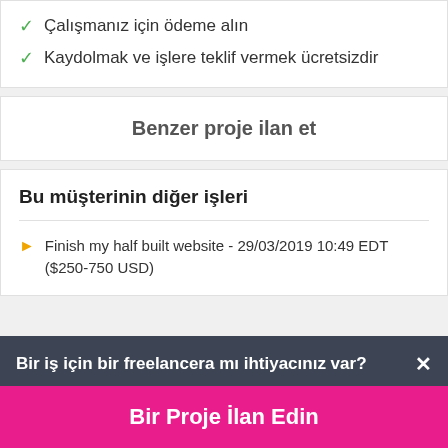Çalışmanız için ödeme alın
Kaydolmak ve işlere teklif vermek ücretsizdir
Benzer proje ilan et
Bu müşterinin diğer işleri
Finish my half built website - 29/03/2019 10:49 EDT ($250-750 USD)
Bir iş için bir freelancera mı ihtiyacınız var?
Bir Proje İlan Edin